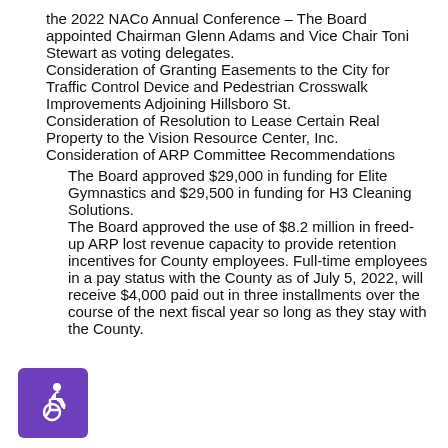the 2022 NACo Annual Conference – The Board appointed Chairman Glenn Adams and Vice Chair Toni Stewart as voting delegates.
Consideration of Granting Easements to the City for Traffic Control Device and Pedestrian Crosswalk Improvements Adjoining Hillsboro St.
Consideration of Resolution to Lease Certain Real Property to the Vision Resource Center, Inc.
Consideration of ARP Committee Recommendations
The Board approved $29,000 in funding for Elite Gymnastics and $29,500 in funding for H3 Cleaning Solutions.
The Board approved the use of $8.2 million in freed-up ARP lost revenue capacity to provide retention incentives for County employees. Full-time employees in a pay status with the County as of July 5, 2022, will receive $4,000 paid out in three installments over the course of the next fiscal year so long as they stay with the County.
[Figure (illustration): Purple accessibility icon showing a person in a wheelchair]